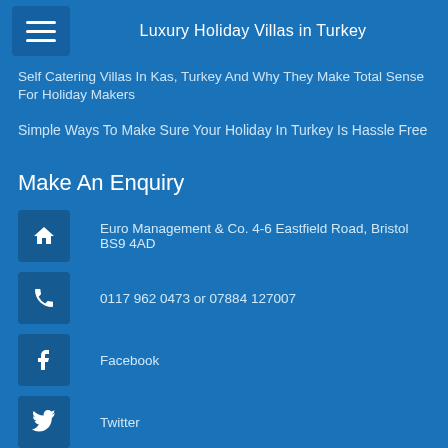Luxury Holiday Villas in Turkey
Self Catering Villas In Kas, Turkey And Why They Make Total Sense For Holiday Makers
Simple Ways To Make Sure Your Holiday In Turkey Is Hassle Free
Make An Enquiry
Euro Management & Co. 4-6 Eastfield Road, Bristol BS9 4AD
0117 962 0473 or 07884 127007
Facebook
Twitter